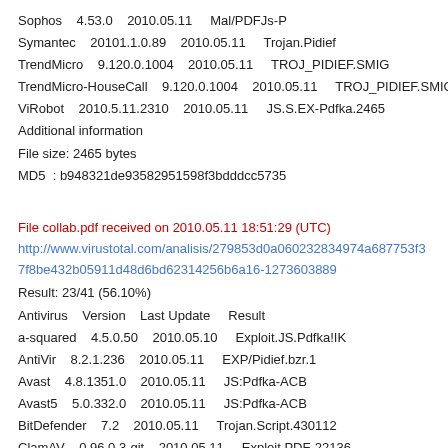Sophos    4.53.0    2010.05.11    Mal/PDFJs-P
Symantec    20101.1.0.89    2010.05.11    Trojan.Pidief
TrendMicro    9.120.0.1004    2010.05.11    TROJ_PIDIEF.SMIG
TrendMicro-HouseCall    9.120.0.1004    2010.05.11    TROJ_PIDIEF.SMIG
ViRobot    2010.5.11.2310    2010.05.11    JS.S.EX-Pdfka.2465
Additional information
File size: 2465 bytes
MD5  : b948321de93582951598f3bdddcc5735
File collab.pdf received on 2010.05.11 18:51:29 (UTC)
http://www.virustotal.com/analisis/279853d0a060232834974a687753f37f8be432b05911d48d6bd62314256b6a16-1273603889
Result: 23/41 (56.10%)
Antivirus    Version    Last Update    Result
a-squared    4.5.0.50    2010.05.10    Exploit.JS.Pdfka!IK
AntiVir    8.2.1.236    2010.05.11    EXP/Pidief.bzr.1
Avast    4.8.1351.0    2010.05.11    JS:Pdfka-ACB
Avast5    5.0.332.0    2010.05.11    JS:Pdfka-ACB
BitDefender    7.2    2010.05.11    Trojan.Script.430112
ClamAV    0.96.0.3-git    2010.05.11    Exploit.PDF-22136
Comodo    4824    2010.05.11    UnclassifiedMalware